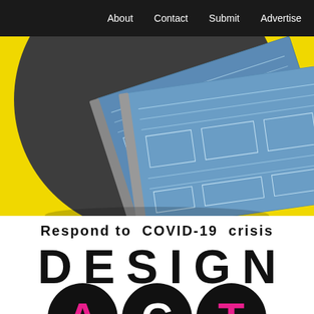About   Contact   Submit   Advertise
[Figure (photo): Yellow background with large dark circle, featuring blueprint/architectural drawings fanned out on top.]
Respond to COVID-19 crisis
DESIGN
ACT